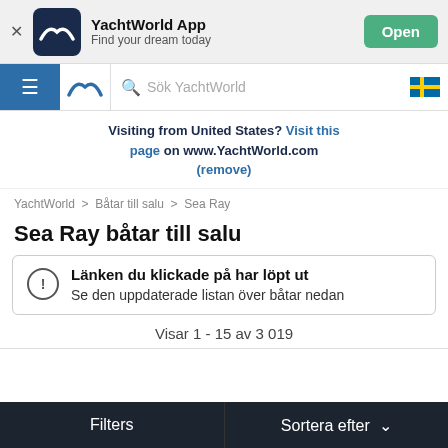[Figure (screenshot): YachtWorld App banner with dark navy icon showing yacht logo, app name 'YachtWorld App', tagline 'Find your dream today', and green 'Open' button]
[Figure (screenshot): Navigation bar with blue hamburger menu, YachtWorld chevron logo, search box with text 'Sök YachtWorld', and Swedish flag icon]
Visiting from United States? Visit this page on www.YachtWorld.com (remove)
YachtWorld > Båtar till salu > Sea Ray
Sea Ray båtar till salu
Länken du klickade på har löpt ut
Se den uppdaterade listan över båtar nedan
Visar 1 - 15 av 3 019
Filters    Sortera efter